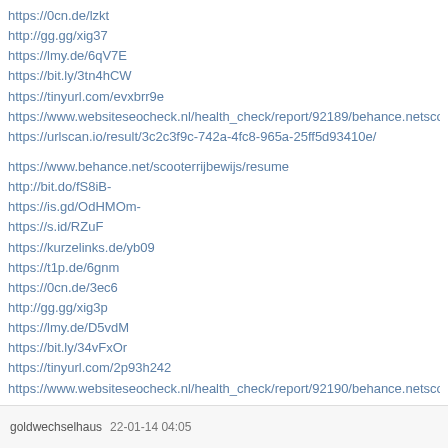https://0cn.de/lzkt
http://gg.gg/xig37
https://lmy.de/6qV7E
https://bit.ly/3tn4hCW
https://tinyurl.com/evxbrr9e
https://www.websiteseocheck.nl/health_check/report/92189/behance.netscooterrijb
https://urlscan.io/result/3c2c3f9c-742a-4fc8-965a-25ff5d93410e/
https://www.behance.net/scooterrijbewijs/resume
http://bit.do/fS8iB-
https://is.gd/OdHMOm-
https://s.id/RZuF
https://kurzelinks.de/yb09
https://t1p.de/6gnm
https://0cn.de/3ec6
http://gg.gg/xig3p
https://lmy.de/D5vdM
https://bit.ly/34vFxOr
https://tinyurl.com/2p93h242
https://www.websiteseocheck.nl/health_check/report/92190/behance.netscooterrijb
goldwechselhaus   22-01-14 04:05